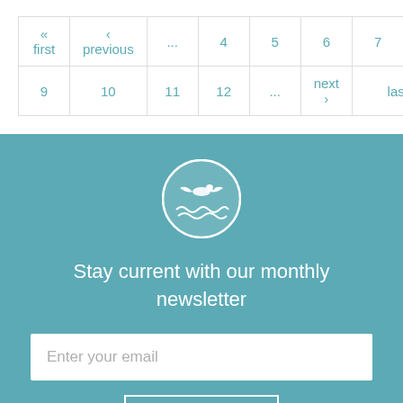| « first | ‹ previous | ... | 4 | 5 | 6 | 7 | 8 |
| 9 | 10 | 11 | 12 | ... | next › | last » |
[Figure (logo): Circular logo with a seagull flying over ocean waves, white on teal background]
Stay current with our monthly newsletter